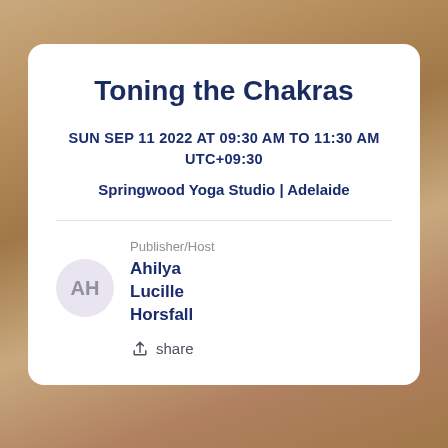Toning the Chakras
SUN SEP 11 2022 AT 09:30 AM TO 11:30 AM UTC+09:30
Springwood Yoga Studio | Adelaide
Publisher/Host
Ahilya Lucille Horsfall
share